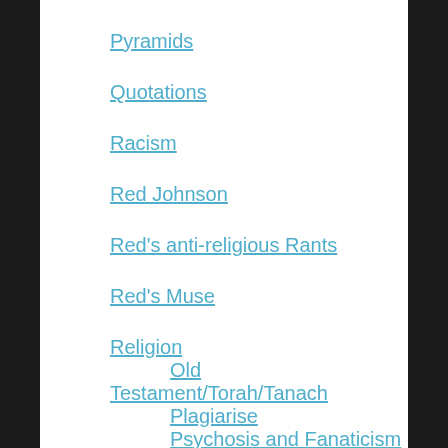Pyramids
Quotations
Racism
Red Johnson
Red's anti-religious Rants
Red's Muse
Religion
Old Testament/Torah/Tanach
Plagiarise
Psychosis and Fanaticism
Religion and Climate